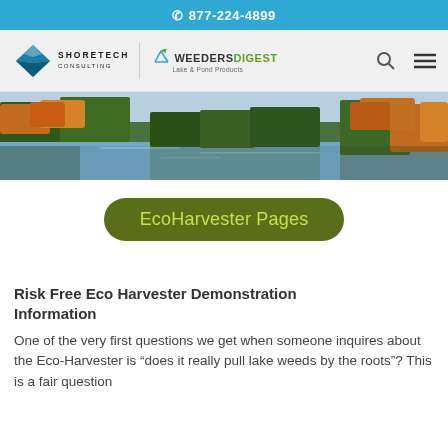877-224-4899
[Figure (logo): ShoreTech and Weeders Digest logos with search and menu icons in navigation bar]
[Figure (photo): Scenic lake or pond surrounded by autumn trees reflecting in calm water]
EcoHarvester Pages
Risk Free Eco Harvester Demonstration Information
One of the very first questions we get when someone inquires about the Eco-Harvester is "does it really pull lake weeds by the roots"? This is a fair question